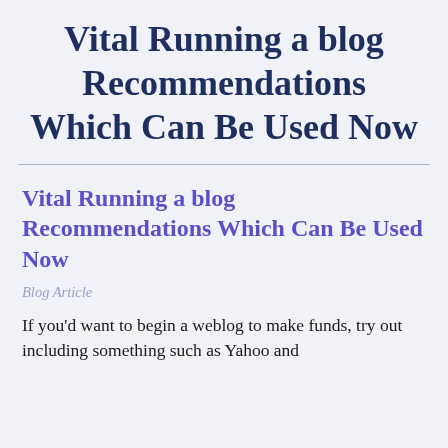Vital Running a blog Recommendations Which Can Be Used Now
Vital Running a blog Recommendations Which Can Be Used Now
Blog Article
If you'd want to begin a weblog to make funds, try out including something such as Yahoo and